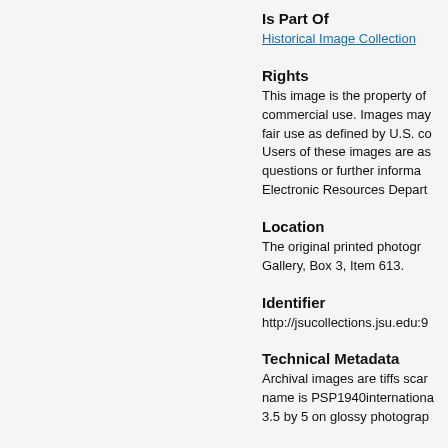Is Part Of
Historical Image Collection
Rights
This image is the property of commercial use. Images may fair use as defined by U.S. co Users of these images are as questions or further informa Electronic Resources Depart
Location
The original printed photogr Gallery, Box 3, Item 613.
Identifier
http://jsucollections.jsu.edu:9
Technical Metadata
Archival images are tiffs scar name is PSP1940internationa 3.5 by 5 on glossy photograp